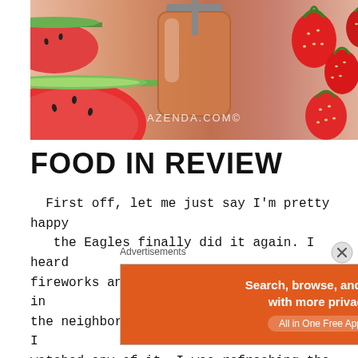[Figure (photo): Photo of watermelon slices on the left, a jar of smoothie/juice in the center, and strawberries on the right on a light surface. AZENDA.COM© watermark at center.]
FOOD IN REVIEW
First off, let me just say I'm pretty happy the Eagles finally did it again. I heard fireworks and people hooting and hollering in the neighborhood! But….. that doesn't mean I watched any of it. I was refreshing the score a tad obsessively near the end though…Wait, I [continues below]
Advertisements
[Figure (screenshot): DuckDuckGo advertisement banner: orange section reading 'Search, browse, and email with more privacy. All in One Free App' and dark section with DuckDuckGo duck logo and brand name.]